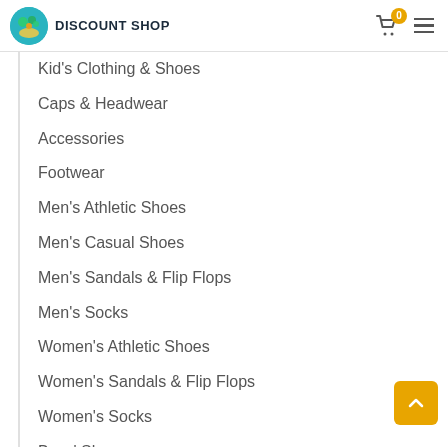DISCOUNT SHOP
Kid's Clothing & Shoes
Caps & Headwear
Accessories
Footwear
Men's Athletic Shoes
Men's Casual Shoes
Men's Sandals & Flip Flops
Men's Socks
Women's Athletic Shoes
Women's Sandals & Flip Flops
Women's Socks
Boys' Shoes
Girls' Shoes
Shoelaces
Shoe Insoles